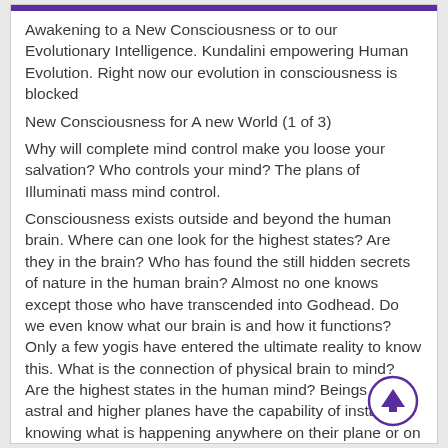Awakening to a New Consciousness or to our Evolutionary Intelligence. Kundalini empowering Human Evolution. Right now our evolution in consciousness is blocked
New Consciousness for A new World (1 of 3)
Why will complete mind control make you loose your salvation? Who controls your mind? The plans of Illuminati mass mind control.
Consciousness exists outside and beyond the human brain. Where can one look for the highest states? Are they in the brain? Who has found the still hidden secrets of nature in the human brain? Almost no one knows except those who have transcended into Godhead. Do we even know what our brain is and how it functions?  Only a few yogis have entered the ultimate reality to know this. What is the connection of physical brain to mind?  Are the highest states in the human mind? Beings on the astral and higher planes have the capability of instantly knowing what is happening anywhere on their plane or on any plane lower than theirs. How? Quantum and kundalini makes it possible.